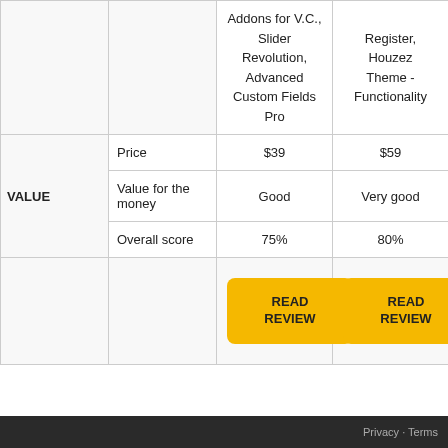|  |  | Addons for V.C., Slider Revolution, Advanced Custom Fields Pro | Register, Houzez Theme - Functionality |
| --- | --- | --- | --- |
| VALUE | Price | $39 | $59 |
|  | Value for the money | Good | Very good |
|  | Overall score | 75% | 80% |
|  |  | READ REVIEW | READ REVIEW |
Privacy · Terms